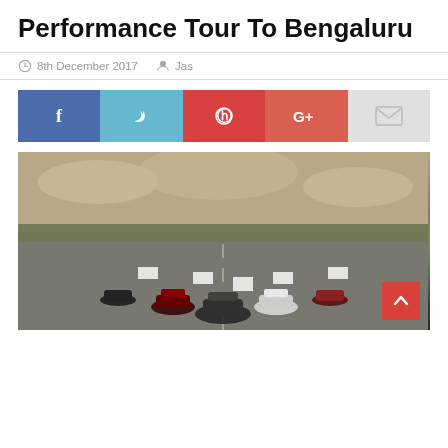Performance Tour To Bengaluru
8th December 2017   Jas
[Figure (infographic): Social media sharing buttons: Facebook (blue), Twitter (light blue), Pinterest (red), Google+ (salmon/red), Email (light grey)]
[Figure (photo): Multiple Jaguar cars lined up on a runway/airstrip facing the camera, with trees and cloudy sky in the background. A back-to-top button (red with white chevron) is visible in the bottom right.]